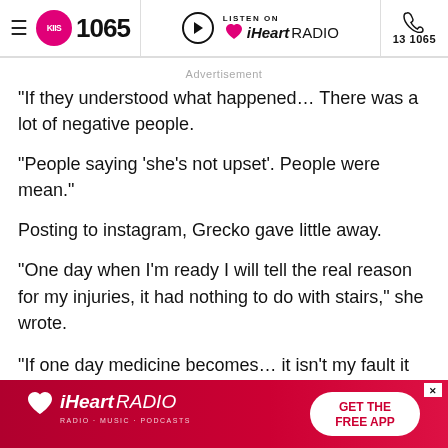KIIS 1065 | LISTEN ON iHeartRADIO | 13 1065
Advertisement
“If they understood what happened… There was a lot of negative people.
“People saying ‘she’s not upset’. People were mean.”
Posting to instagram, Grecko gave little away.
“One day when I’m ready I will tell the real reason for my injuries, it had nothing to do with stairs,” she wrote.
“If one day medicine becomes… it isn’t my fault it
[Figure (screenshot): iHeartRADIO advertisement banner with GET THE FREE APP button]